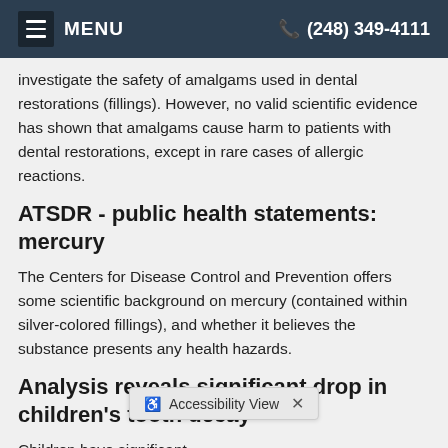MENU  (248) 349-4111
investigate the safety of amalgams used in dental restorations (fillings). However, no valid scientific evidence has shown that amalgams cause harm to patients with dental restorations, except in rare cases of allergic reactions.
ATSDR - public health statements: mercury
The Centers for Disease Control and Prevention offers some scientific background on mercury (contained within silver-colored fillings), and whether it believes the substance presents any health hazards.
Analysis reveals significant drop in children's tooth decay
Children have significant … their primary